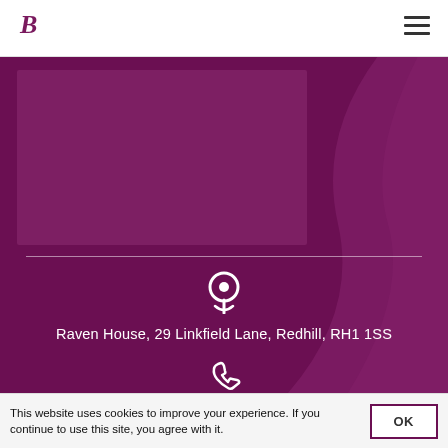B (logo) | hamburger menu
[Figure (illustration): Purple banner background with lighter purple decorative rectangle and curved abstract shape on the right side. Contains a horizontal white dividing line, a white location pin icon, address text, and a phone icon with phone number.]
Raven House, 29 Linkfield Lane, Redhill, RH1 1SS
01737 452 111
This website uses cookies to improve your experience. If you continue to use this site, you agree with it.